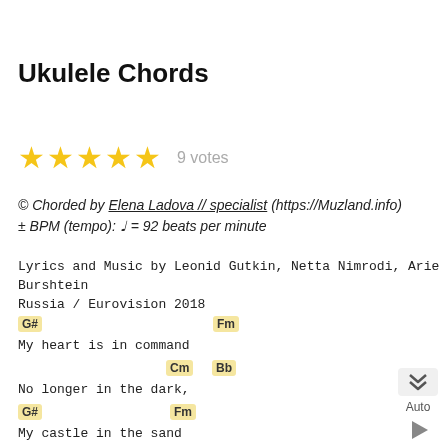Ukulele Chords
[Figure (other): Five gold stars rating]
9 votes
© Chorded by Elena Ladova // specialist (https://Muzland.info)
± BPM (tempo): ♩ = 92 beats per minute
Lyrics and Music by Leonid Gutkin, Netta Nimrodi, Arie Burshtein
Russia / Eurovision 2018
G#                              Fm
My heart is in command
             Cm     Bb
No longer in the dark,
G#                  Fm
My castle in the sand
                        Cm  Bb